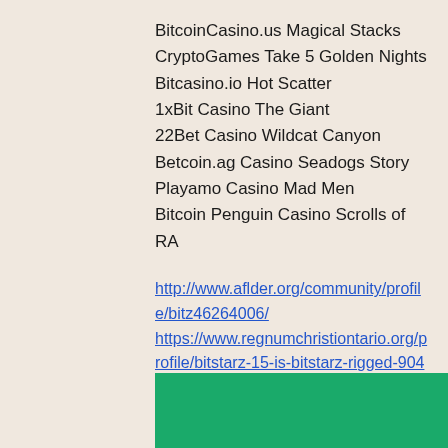BitcoinCasino.us Magical Stacks
CryptoGames Take 5 Golden Nights
Bitcasino.io Hot Scatter
1xBit Casino The Giant
22Bet Casino Wildcat Canyon
Betcoin.ag Casino Seadogs Story
Playamo Casino Mad Men
Bitcoin Penguin Casino Scrolls of RA
http://www.aflder.org/community/profile/bitz46264006/
https://www.regnumchristiontario.org/profile/bitstarz-15-is-bitstarz-rigged-9041/profile
https://www.marketapeel.agency/profile/bitstarz-free-btc-805/profile
https://www.urbanpawsindia.com/profile/bitstarz-free-btc-bitstarz-promokod-na-frispiny-7973/profile